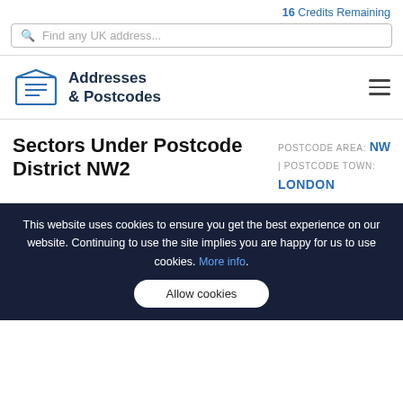16 Credits Remaining
Find any UK address...
[Figure (logo): Addresses & Postcodes logo with envelope icon]
Sectors Under Postcode District NW2
POSTCODE AREA: NW | POSTCODE TOWN: LONDON
This website uses cookies to ensure you get the best experience on our website. Continuing to use the site implies you are happy for us to use cookies. More info.
Allow cookies